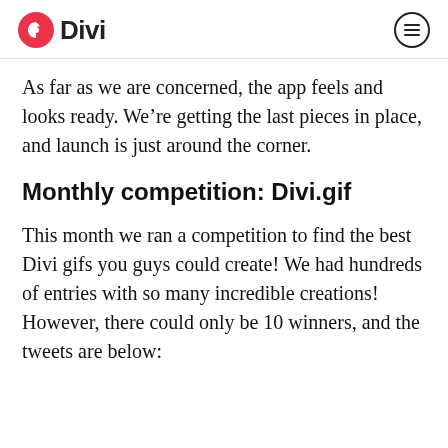Divi
As far as we are concerned, the app feels and looks ready. We're getting the last pieces in place, and launch is just around the corner.
Monthly competition: Divi.gif
This month we ran a competition to find the best Divi gifs you guys could create! We had hundreds of entries with so many incredible creations! However, there could only be 10 winners, and the tweets are below: